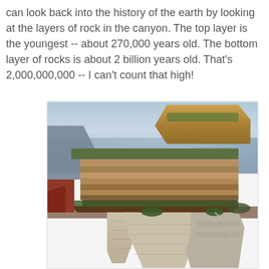can look back into the history of the earth by looking at the layers of rock in the canyon. The top layer is the youngest -- about 270,000 years old. The bottom layer of rocks is about 2 billion years old. That's 2,000,000,000 -- I can't count that high!
[Figure (photo): Photograph of the Grand Canyon showing layered rock formations. In the foreground are light-colored limestone rock formations. The middle ground shows a large flat-topped mesa with reddish-brown layered cliffs. In the background, a canyon butte is illuminated by golden sunlight. The sky and canyon depth are visible with blue-purple haze.]